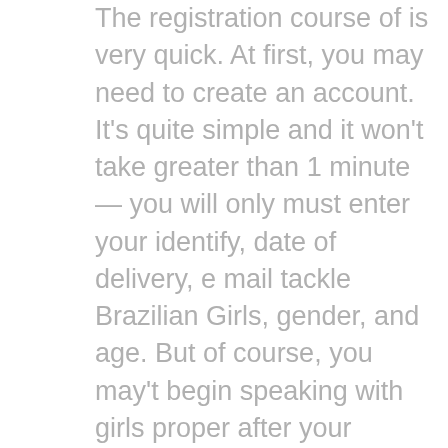The registration course of is very quick. At first, you may need to create an account. It's quite simple and it won't take greater than 1 minute — you will only must enter your identify, date of delivery, e mail tackle Brazilian Girls, gender, and age. But of course, you may't begin speaking with girls proper after your account is created. An empty profile isn't sufficient to draw a Brazil girl, so you will should edit your profile so as to add some credibility. Created in 2004 and operated by Cupid Media, Brazil Cupid hails as